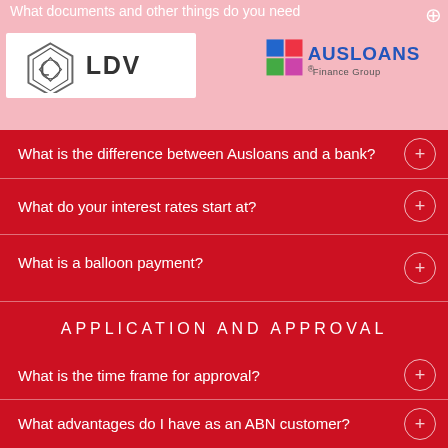What documents and other things do you need
[Figure (logo): LDV logo on white background]
[Figure (logo): AUSLOANS Finance Group logo]
What is the difference between Ausloans and a bank?
What do your interest rates start at?
What is a balloon payment?
APPLICATION AND APPROVAL
What is the time frame for approval?
What advantages do I have as an ABN customer?
Can I get a loan if I am bankrupt?